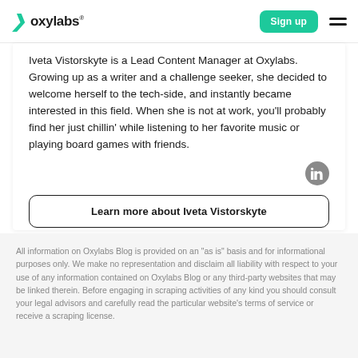oxylabs® | Sign up
Iveta Vistorskyte is a Lead Content Manager at Oxylabs. Growing up as a writer and a challenge seeker, she decided to welcome herself to the tech-side, and instantly became interested in this field. When she is not at work, you'll probably find her just chillin' while listening to her favorite music or playing board games with friends.
Learn more about Iveta Vistorskyte
All information on Oxylabs Blog is provided on an "as is" basis and for informational purposes only. We make no representation and disclaim all liability with respect to your use of any information contained on Oxylabs Blog or any third-party websites that may be linked therein. Before engaging in scraping activities of any kind you should consult your legal advisors and carefully read the particular website's terms of service or receive a scraping license.